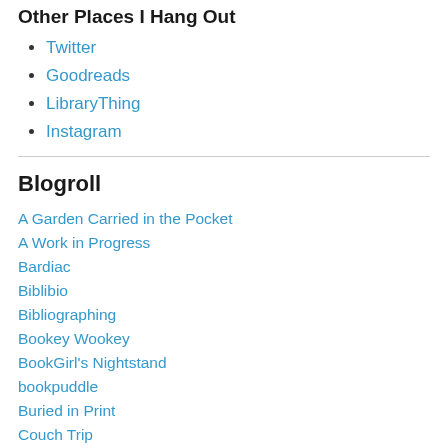Other Places I Hang Out
Twitter
Goodreads
LibraryThing
Instagram
Blogroll
A Garden Carried in the Pocket
A Work in Progress
Bardiac
Biblibio
Bibliographing
Bookey Wookey
BookGirl's Nightstand
bookpuddle
Buried in Print
Couch Trip
dovegreyreader